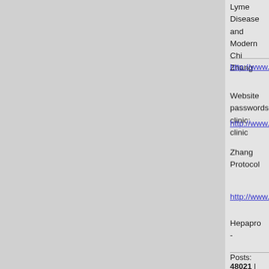Lyme Disease and Modern Chinese Medicine - Zhang
http://www.sinomedresearch.org
Website passwords: clinic; clinic
http://www.sinomedresearch.org
Zhang Protocol
http://www.hepapro.com/hepapro
Hepapro
-
Posts: 48021 | From Tree House | Regist
Keebler
Honored Contributor
(25K+ posts)
Member # 12673
posted 02-20-2016 03:38 PM
Reply With Quote
-
Stephen BUHNER's books also well). He discusses Artemesia in Babesia.